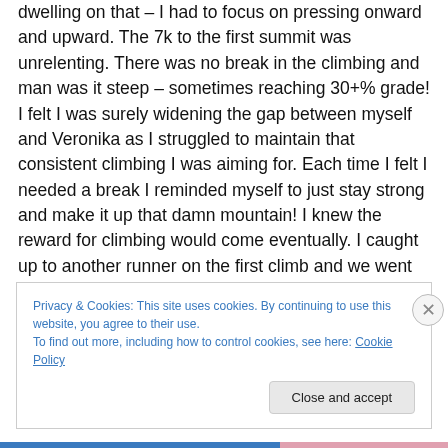dwelling on that – I had to focus on pressing onward and upward. The 7k to the first summit was unrelenting. There was no break in the climbing and man was it steep – sometimes reaching 30+% grade! I felt I was surely widening the gap between myself and Veronika as I struggled to maintain that consistent climbing I was aiming for. Each time I felt I needed a break I reminded myself to just stay strong and make it up that damn mountain! I knew the reward for climbing would come eventually. I caught up to another runner on the first climb and we went back and forth for a while – it was nice to have someone
Privacy & Cookies: This site uses cookies. By continuing to use this website, you agree to their use.
To find out more, including how to control cookies, see here: Cookie Policy